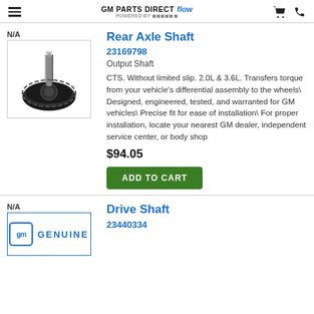GM PARTS DIRECT FLOW POWERED BY [logo]
[Figure (photo): Rear Axle Shaft / Output Shaft part image showing a black gear/hub assembly with a splined shaft]
Rear Axle Shaft
23169798
Output Shaft
CTS. Without limited slip. 2.0L & 3.6L. Transfers torque from your vehicle's differential assembly to the wheels\ Designed, engineered, tested, and warranted for GM vehicles\ Precise fit for ease of installation\ For proper installation, locate your nearest GM dealer, independent service center, or body shop
$94.05
ADD TO CART
[Figure (logo): GM Genuine Parts logo with blue border square and GENUINE text]
Drive Shaft
23440334